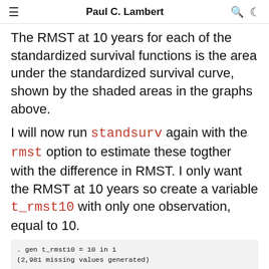Paul C. Lambert
The RMST at 10 years for each of the standardized survival functions is the area under the standardized survival curve, shown by the shaded areas in the graphs above.
I will now run standsurv again with the rmst option to estimate these togther with the difference in RMST. I only want the RMST at 10 years so create a variable t_rmst10 with only one observation, equal to 10.
. gen t_rmst10 = 10 in 1
(2,981 missing values generated)

. standsurv, at1(hormon 0) at2(hormon 1) timevar(t_rmst10) rmst ci c
>     atvar(rmst_h0 rmst_h1) contrastvar(rmstdiff)